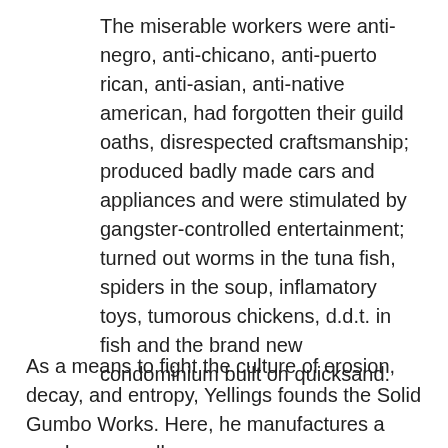The miserable workers were anti-negro, anti-chicano, anti-puerto rican, anti-asian, anti-native american, had forgotten their guild oaths, disrespected craftsmanship; produced badly made cars and appliances and were stimulated by gangster-controlled entertainment; turned out worms in the tuna fish, spiders in the soup, inflamatory toys, tumorous chickens, d.d.t. in fish and the brand new condominium built on quicksand.
As a means to fight the culture of erosion, decay, and entropy, Yellings founds the Solid Gumbo Works. Here, he manufactures a gumbo—a spell,